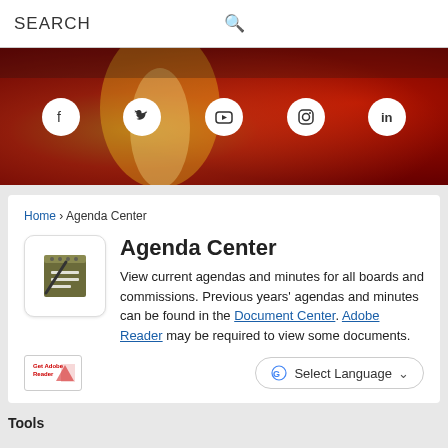SEARCH
[Figure (illustration): Hero banner with red/orange flame background and five social media icons (Facebook, Twitter, YouTube, Instagram, LinkedIn) displayed as white circles]
Home › Agenda Center
Agenda Center
View current agendas and minutes for all boards and commissions. Previous years' agendas and minutes can be found in the Document Center. Adobe Reader may be required to view some documents.
[Figure (logo): Get Adobe Reader badge logo]
Select Language
Tools